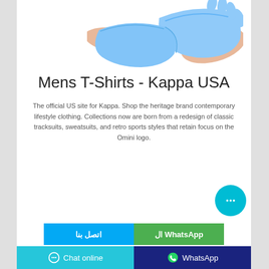[Figure (photo): Hands wearing blue medical/rubber gloves, one hand stretching the glove over a wrist, on a white background]
Mens T-Shirts - Kappa USA
The official US site for Kappa. Shop the heritage brand contemporary lifestyle clothing. Collections now are born from a redesign of classic tracksuits, sweatsuits, and retro sports styles that retain focus on the Omini logo.
[Figure (other): Cyan circular chat bubble button with three dots icon]
ال WhatsApp
اتصل بنا
Chat online   WhatsApp